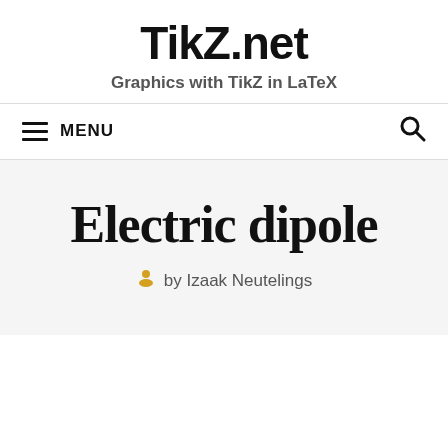TikZ.net
Graphics with TikZ in LaTeX
MENU
Electric dipole
by Izaak Neutelings